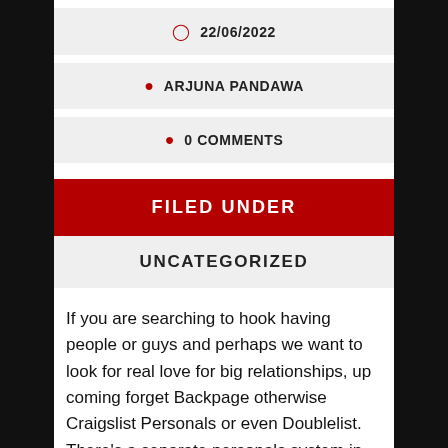22/06/2022
ARJUNA PANDAWA
0 COMMENTS
FILED UNDER
UNCATEGORIZED
If you are searching to hook having people or guys and perhaps we want to look for real love for big relationships, up coming forget Backpage otherwise Craigslist Personals or even Doublelist. There's a separate personals system in the city. Enter DoULike ? your own number one personals replacement for